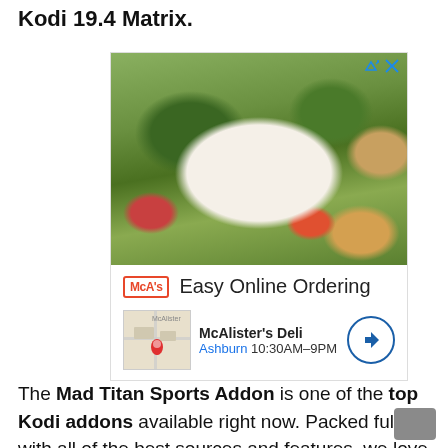Kodi 19.4 Matrix.
[Figure (photo): Advertisement showing a salad dish from McAlister's Deli with Easy Online Ordering text, McAlister's Deli logo, location showing Ashburn 10:30AM-9PM, and a navigation button.]
The Mad Titan Sports Addon is one of the top Kodi addons available right now. Packed full with all of the best sources and features, we love this multi-source and multi-scraper addon and